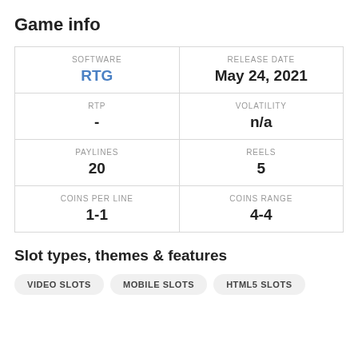Game info
| SOFTWARE | RELEASE DATE |
| --- | --- |
| RTG | May 24, 2021 |
| - | n/a |
| 20 | 5 |
| 1-1 | 4-4 |
Slot types, themes & features
VIDEO SLOTS
MOBILE SLOTS
HTML5 SLOTS